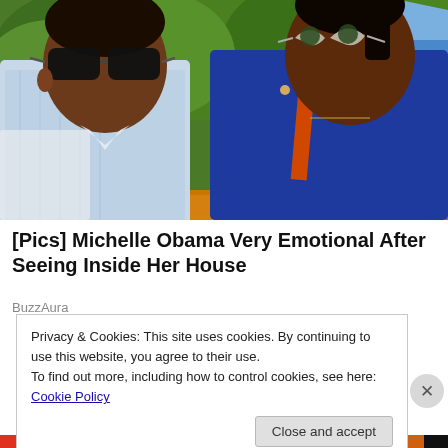[Figure (photo): Photo of two people (a man and a woman) wearing sunglasses outdoors, with green trees and a blue building in the background, and an orange ground area at the bottom.]
[Pics] Michelle Obama Very Emotional After Seeing Inside Her House
BuzzAura
Privacy & Cookies: This site uses cookies. By continuing to use this website, you agree to their use.
To find out more, including how to control cookies, see here: Cookie Policy
Close and accept